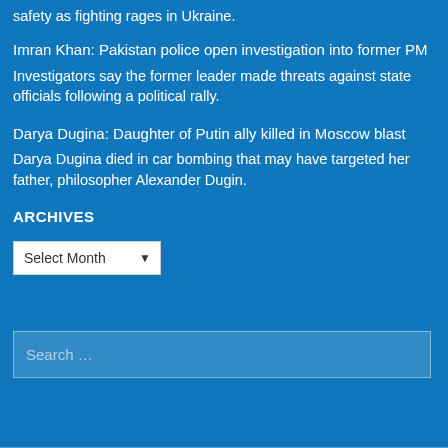safety as fighting rages in Ukraine.
Imran Khan: Pakistan police open investigation into former PM
Investigators say the former leader made threats against state officials following a political rally.
Darya Dugina: Daughter of Putin ally killed in Moscow blast
Darya Dugina died in car bombing that may have targeted her father, philosopher Alexander Dugin.
ARCHIVES
Select Month
Search …